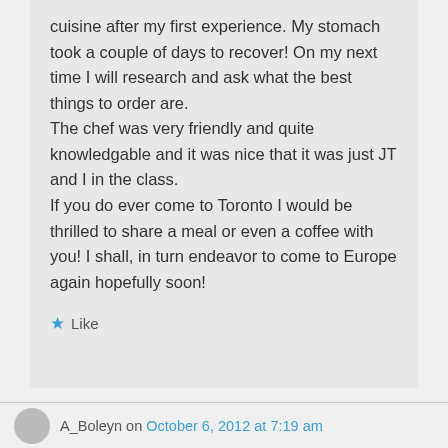cuisine after my first experience. My stomach took a couple of days to recover! On my next time I will research and ask what the best things to order are.
The chef was very friendly and quite knowledgable and it was nice that it was just JT and I in the class.
If you do ever come to Toronto I would be thrilled to share a meal or even a coffee with you! I shall, in turn endeavor to come to Europe again hopefully soon!
★ Like
↳ Reply
A_Boleyn on October 6, 2012 at 7:19 am